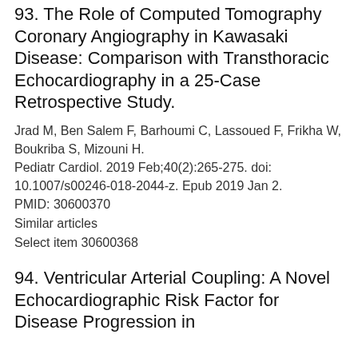93. The Role of Computed Tomography Coronary Angiography in Kawasaki Disease: Comparison with Transthoracic Echocardiography in a 25-Case Retrospective Study.
Jrad M, Ben Salem F, Barhoumi C, Lassoued F, Frikha W, Boukriba S, Mizouni H.
Pediatr Cardiol. 2019 Feb;40(2):265-275. doi: 10.1007/s00246-018-2044-z. Epub 2019 Jan 2.
PMID: 30600370
Similar articles
Select item 30600368
94. Ventricular Arterial Coupling: A Novel Echocardiographic Risk Factor for Disease Progression in